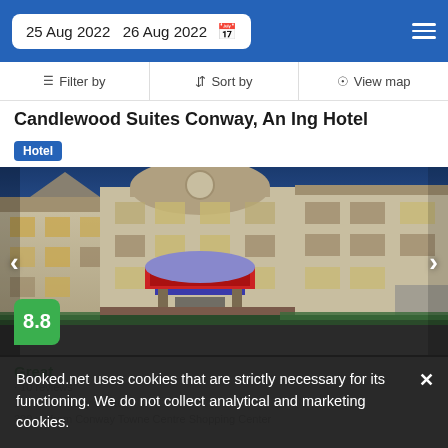25 Aug 2022  26 Aug 2022
Filter by  Sort by  View map
Candlewood Suites Conway, An Ing Hotel
Hotel
[Figure (photo): Exterior photo of Candlewood Suites Conway hotel building at dusk, beige multi-story building with covered entrance, Candlewood brand sign visible]
8.8
Great
Booked.net uses cookies that are strictly necessary for its functioning. We do not collect analytical and marketing cookies.